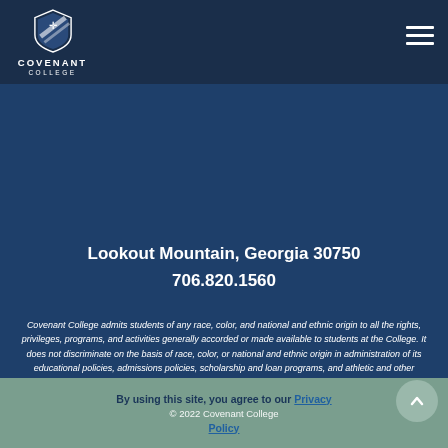Covenant College
Lookout Mountain, Georgia 30750
706.820.1560
Covenant College admits students of any race, color, and national and ethnic origin to all the rights, privileges, programs, and activities generally accorded or made available to students at the College. It does not discriminate on the basis of race, color, or national and ethnic origin in administration of its educational policies, admissions policies, scholarship and loan programs, and athletic and other school-administered programs.
By using this site, you agree to our Privacy Policy
© 2022 Covenant College